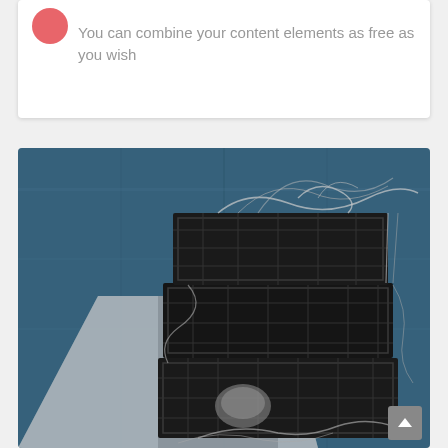You can combine your content elements as free as you wish
[Figure (photo): Stacked wire fishing traps/crab pots against a blue painted wooden wall background, with a concrete slab visible in the foreground. The image has a cool, desaturated blue tone.]